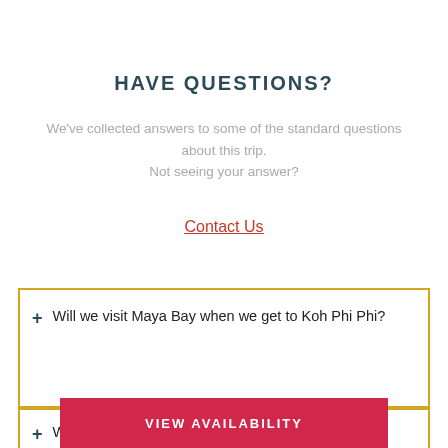HAVE QUESTIONS?
We've collected answers to some of the standard questions about this trip.
Not seeing your answer?
Contact Us
+ Will we visit Maya Bay when we get to Koh Phi Phi?
+ Wh...
VIEW AVAILABILITY